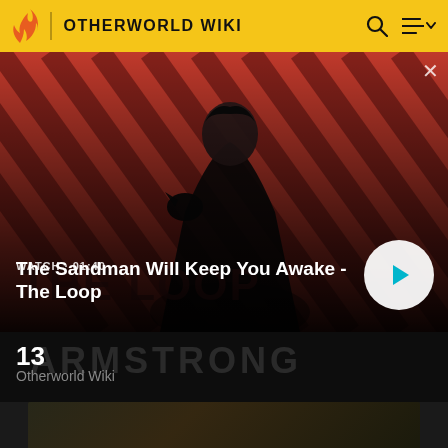OTHERWORLD WIKI
[Figure (screenshot): Video thumbnail showing a dark-cloaked figure with a raven on shoulder against a red diagonal striped background. Text overlay: WATCH · 01:40 and title 'The Sandman Will Keep You Awake - The Loop' with a play button. Background text reads THE LOOP and ARMSTRONG.]
The Sandman Will Keep You Awake - The Loop
13
Otherworld Wiki
[Figure (photo): Dark atmospheric image partially visible at bottom of page]